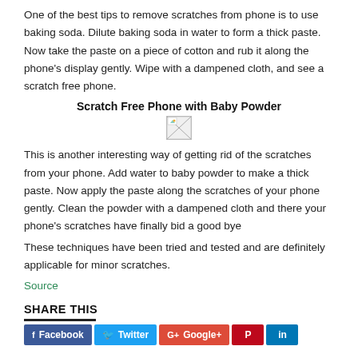One of the best tips to remove scratches from phone is to use baking soda. Dilute baking soda in water to form a thick paste. Now take the paste on a piece of cotton and rub it along the phone's display gently. Wipe with a dampened cloth, and see a scratch free phone.
Scratch Free Phone with Baby Powder
[Figure (photo): Broken/missing image placeholder]
This is another interesting way of getting rid of the scratches from your phone. Add water to baby powder to make a thick paste. Now apply the paste along the scratches of your phone gently. Clean the powder with a dampened cloth and there your phone's scratches have finally bid a good bye
These techniques have been tried and tested and are definitely applicable for minor scratches.
Source
SHARE THIS
Facebook Twitter Google+ Pinterest LinkedIn